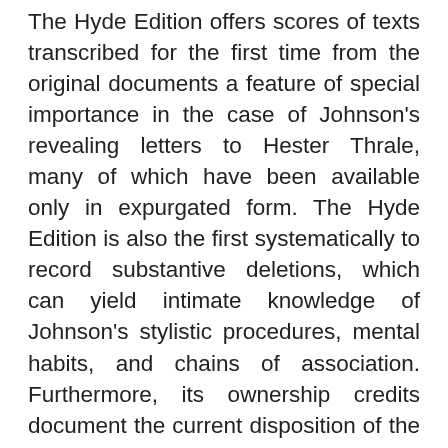The Hyde Edition offers scores of texts transcribed for the first time from the original documents a feature of special importance in the case of Johnson's revealing letters to Hester Thrale, many of which have been available only in expurgated form. The Hyde Edition is also the first systematically to record substantive deletions, which can yield intimate knowledge of Johnson's stylistic procedures, mental habits, and chains of association. Furthermore, its ownership credits document the current disposition of the manuscripts, hundreds of which have changed hands during the last four decades. Finally, the annotation of the letters incorporates the many significant discoveries of postwar Johnsonian scholarship, as well as decoding references that had